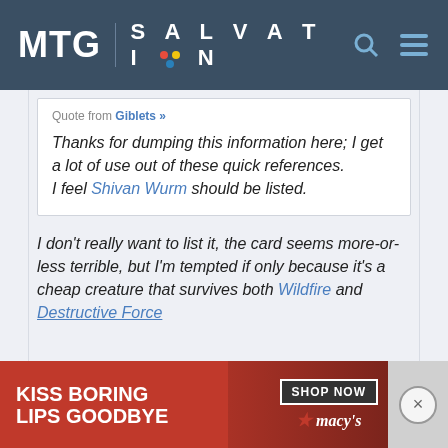MTG SALVATION
Quote from Giblets »
Thanks for dumping this information here; I get a lot of use out of these quick references.
I feel Shivan Wurm should be listed.
I don't really want to list it, the card seems more-or-less terrible, but I'm tempted if only because it's a cheap creature that survives both Wildfire and Destructive Force
[Figure (photo): Advertisement banner: Kiss Boring Lips Goodbye - Macy's Shop Now]